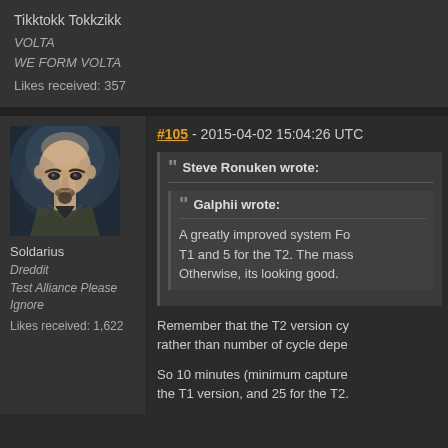Tikktokk Tokkzikk
VOLTA
WE FORM VOLTA
Likes received: 357
[Figure (photo): Avatar portrait of a bald man with a goatee, wearing a dark jacket, against a dramatic dark background]
Soldarius
Dreddit
Test Alliance Please Ignore
Likes received: 1,622
#105 - 2015-04-02 15:04:26 UTC
Steve Ronuken wrote:
Galphii wrote:
A greatly improved system Fo... T1 and 5 for the T2. The mass... Otherwise, its looking good.
Remember that the T2 version cy... rather than number of cycle depe...
So 10 minutes (minimum capture... the T1 version, and 25 for the T2.